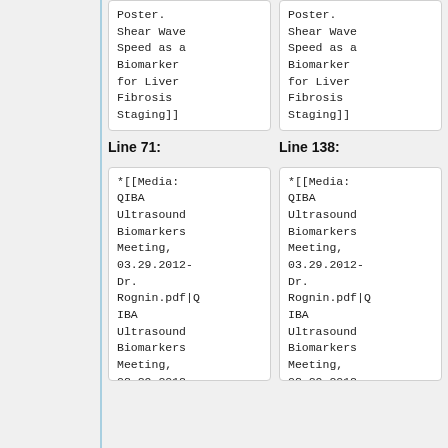Poster. Shear Wave Speed as a Biomarker for Liver Fibrosis Staging]]
Poster. Shear Wave Speed as a Biomarker for Liver Fibrosis Staging]]
Line 71:
Line 138:
*[[Media:QIBA Ultrasound Biomarkers Meeting, 03.29.2012-Dr. Rognin.pdf|QIBA Ultrasound Biomarkers Meeting, 03.29.2012-
*[[Media:QIBA Ultrasound Biomarkers Meeting, 03.29.2012-Dr. Rognin.pdf|QIBA Ultrasound Biomarkers Meeting, 03.29.2012-